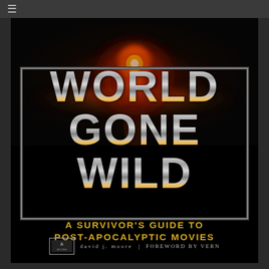[Figure (illustration): Book cover of 'World Gone Wild: A Survivor's Guide to Post-Apocalyptic Movies' by David J. Moore with Foreword by Vern. Features chrome 3D text on black background with nuclear explosion mushroom cloud above the title, a rectangular chrome frame border around the main title, and gold subtitle text below. Publisher logo and author/foreword credits appear at the bottom.]